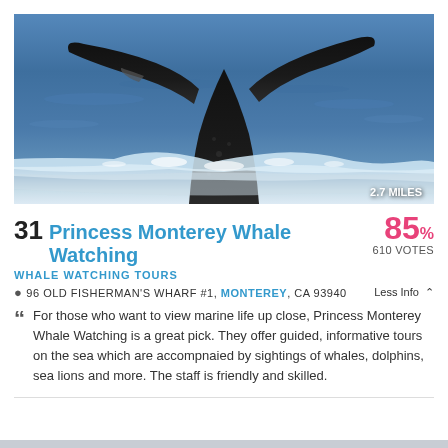[Figure (photo): A whale tail (fluke) rising out of choppy blue ocean water, captured mid-dive. The image shows the dark black fluke against splashing white water and blue sea. A badge in the bottom-right corner reads '2.7 MILES'.]
31 Princess Monterey Whale Watching 85%
WHALE WATCHING TOURS
96 OLD FISHERMAN'S WHARF #1, MONTEREY, CA 93940   Less Info
For those who want to view marine life up close, Princess Monterey Whale Watching is a great pick. They offer guided, informative tours on the sea which are accompnaied by sightings of whales, dolphins, sea lions and more. The staff is friendly and skilled.